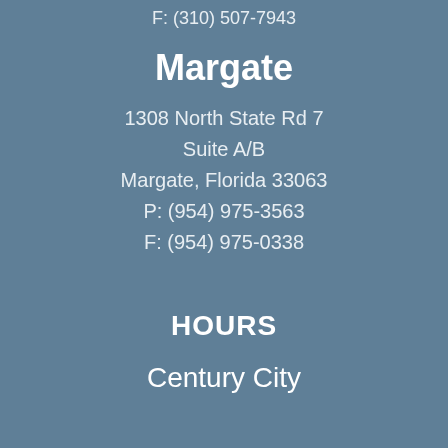F: (310) 507-7943
Margate
1308 North State Rd 7
Suite A/B
Margate, Florida 33063
P: (954) 975-3563
F: (954) 975-0338
HOURS
Century City